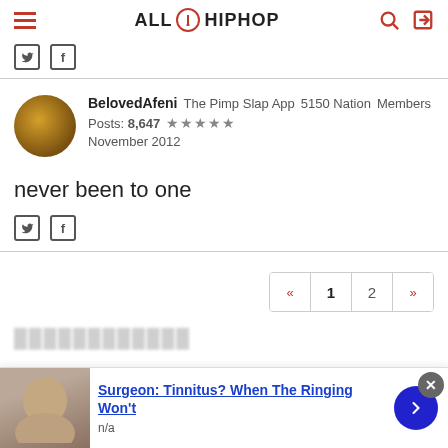ALL HIP HOP
[Figure (screenshot): Twitter and Facebook social share icons]
BelovedAfeni   The Pimp Slap App   5150 Nation   Members
Posts: 8,647  ★★★★★
November 2012
never been to one
[Figure (screenshot): Twitter and Facebook social share icons]
« 1 2 »
Surgeon: Tinnitus? When The Ringing Won't
n/a